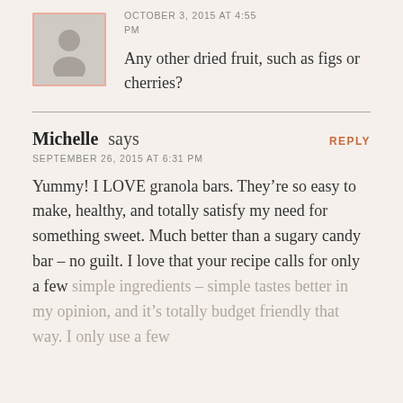[Figure (illustration): Gray avatar placeholder icon with pink/salmon border showing a silhouette of a person]
OCTOBER 3, 2015 AT 4:55 PM
Any other dried fruit, such as figs or cherries?
Michelle says
REPLY
SEPTEMBER 26, 2015 AT 6:31 PM
Yummy! I LOVE granola bars. They're so easy to make, healthy, and totally satisfy my need for something sweet. Much better than a sugary candy bar – no guilt. I love that your recipe calls for only a few simple ingredients – simple tastes better in my opinion, and it's totally budget friendly that way. I only use a few